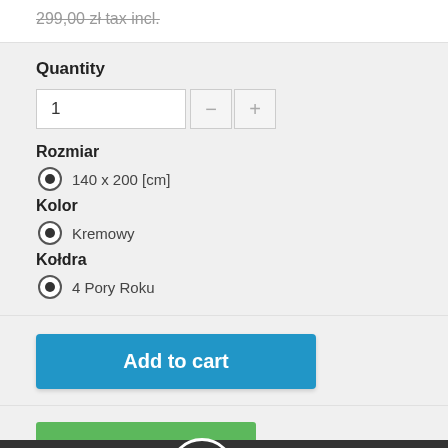299,00 zł tax incl.
Quantity
1
Rozmiar
140 x 200 [cm]
Kolor
Kremowy
Kołdra
4 Pory Roku
Add to cart
DARMOWA DOSTAWA